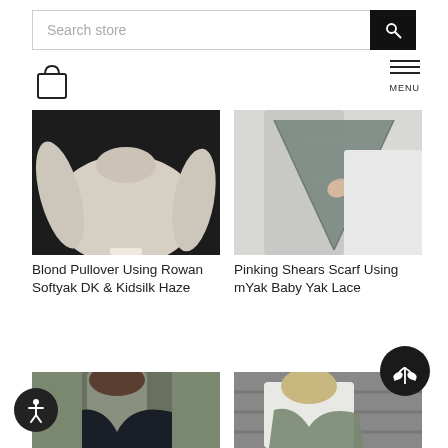[Figure (screenshot): Search bar with text input and black search button]
[Figure (illustration): Shopping bag icon]
[Figure (illustration): Hamburger menu icon with MENU label]
[Figure (photo): Beige/cream knit pullover sweater on a dress form against dark background]
Blond Pullover Using Rowan Softyak DK & Kidsilk Haze
[Figure (photo): Person wearing a grey triangular knit scarf/shawl, holding it closed]
Pinking Shears Scarf Using mYak Baby Yak Lace
[Figure (photo): Woman with dark hair wearing a dark navy knit scarf outdoors]
[Figure (photo): Older woman with blonde hair wearing a grey/green knit scarf, smiling]
[Figure (illustration): Black circular accessibility button with person icon]
[Figure (illustration): Black circular button with leaf/plant icon]